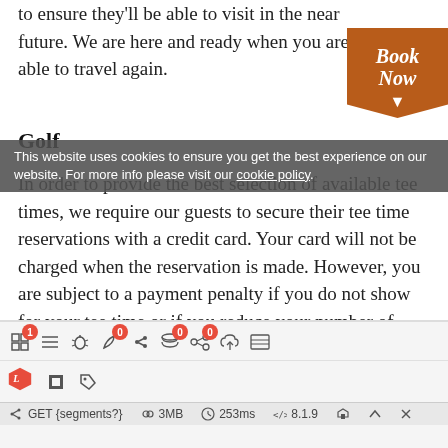to ensure they'll be able to visit in the near future. We are here and ready when you are able to travel again.
Golf
In order to provide the best selection of available tee times, we require our guests to secure their tee time reservations with a credit card. Your card will not be charged when the reservation is made. However, you are subject to a payment penalty if you do not show for your tee time or if you reduce your number of players without at least 24 hours of advance notice. If you need to cancel or modify your tee time, please call us at (844) 368-7878
[Figure (screenshot): Cookie consent bar overlay with text and link to cookie policy]
[Figure (screenshot): Laravel debug toolbar with icons, badges, and performance metrics: GET {segments?}, 3MB, 253ms, 8.1.9]